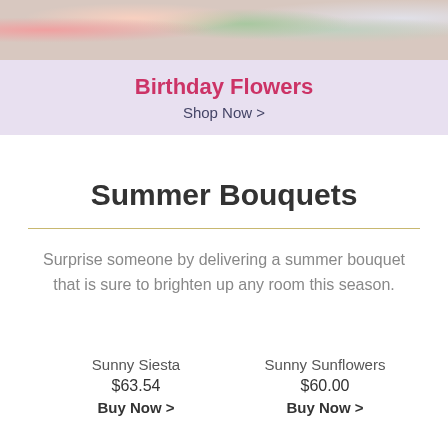[Figure (photo): Banner photo showing flowers and decorative items]
Birthday Flowers
Shop Now >
Summer Bouquets
Surprise someone by delivering a summer bouquet that is sure to brighten up any room this season.
Sunny Siesta
$63.54
Buy Now >
Sunny Sunflowers
$60.00
Buy Now >